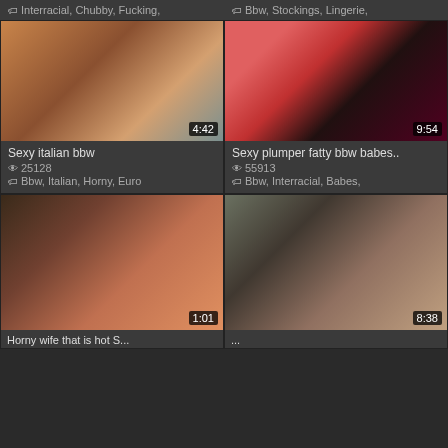Interracial, Chubby, Fucking,
Bbw, Stockings, Lingerie,
[Figure (photo): Video thumbnail showing a woman, duration 4:42]
[Figure (photo): Video thumbnail showing close-up scene, duration 9:54]
Sexy italian bbw
25128
Bbw, Italian, Horny, Euro
Sexy plumper fatty bbw babes..
55913
Bbw, Interracial, Babes,
[Figure (photo): Video thumbnail close-up scene, duration 1:01]
[Figure (photo): Video thumbnail showing couple on couch, duration 8:38]
Horny wife that is hot S...
...